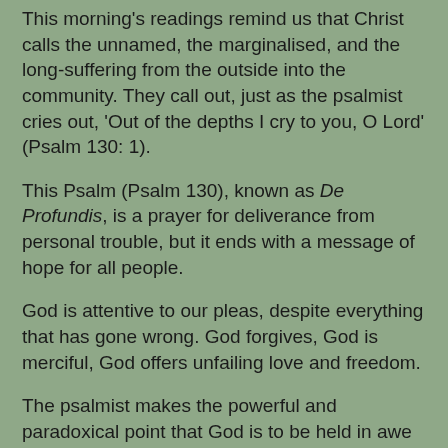This morning's readings remind us that Christ calls the unnamed, the marginalised, and the long-suffering from the outside into the community. They call out, just as the psalmist cries out, 'Out of the depths I cry to you, O Lord' (Psalm 130: 1).
This Psalm (Psalm 130), known as De Profundis, is a prayer for deliverance from personal trouble, but it ends with a message of hope for all people.
God is attentive to our pleas, despite everything that has gone wrong. God forgives, God is merciful, God offers unfailing love and freedom.
The psalmist makes the powerful and paradoxical point that God is to be held in awe not because he punishes but because he forgives.
God's love for us surpasses the love of any father or mother for their children.
In the Gospel reading, one of the key people is the daughter